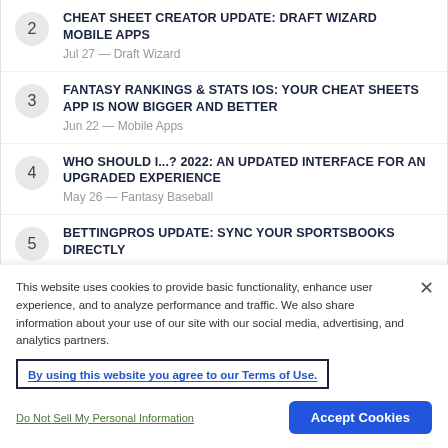2 — CHEAT SHEET CREATOR UPDATE: DRAFT WIZARD MOBILE APPS
Jul 27 — Draft Wizard
3 — FANTASY RANKINGS & STATS IOS: YOUR CHEAT SHEETS APP IS NOW BIGGER AND BETTER
Jun 22 — Mobile Apps
4 — WHO SHOULD I...? 2022: AN UPDATED INTERFACE FOR AN UPGRADED EXPERIENCE
May 26 — Fantasy Baseball
5 — BETTINGPROS UPDATE: SYNC YOUR SPORTSBOOKS DIRECTLY
This website uses cookies to provide basic functionality, enhance user experience, and to analyze performance and traffic. We also share information about your use of our site with our social media, advertising, and analytics partners.
By using this website you agree to our Terms of Use.
Do Not Sell My Personal Information
Accept Cookies